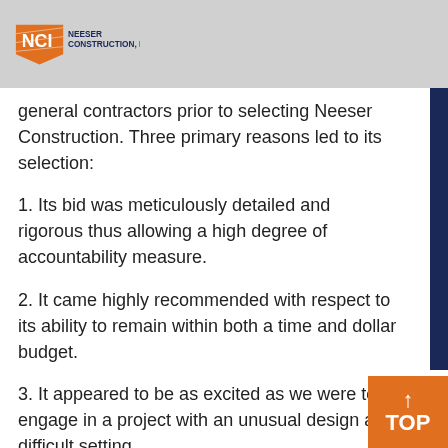NEESER CONSTRUCTION, INC.
general contractors prior to selecting Neeser Construction. Three primary reasons led to its selection:
1. Its bid was meticulously detailed and rigorous thus allowing a high degree of accountability measure.
2. It came highly recommended with respect to its ability to remain within both a time and dollar budget.
3. It appeared to be as excited as we were to engage in a project with an unusual design and difficult setting.
We were not disappointed with our selection! In fact, we cannot praise Neeser Construction enough. Neeser, personally, associated himself intimately with our project, the consequence of which was...